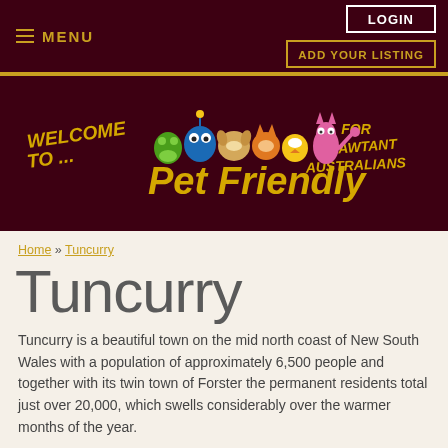≡ MENU | LOGIN | ADD YOUR LISTING
[Figure (illustration): Pet Friendly website banner on dark maroon background. Text reads 'WELCOME TO ...' on the left in yellow, cartoon animal characters in the center (frog, blue character, dog, cat, bird, pink panther-like character), large yellow text 'Pet Friendly' in the middle, and 'FOR IMPAWTANT AUSTRALIANS' on the right in yellow.]
Home » Tuncurry
Tuncurry
Tuncurry is a beautiful town on the mid north coast of New South Wales with a population of approximately 6,500 people and together with its twin town of Forster the permanent residents total just over 20,000, which swells considerably over the warmer months of the year.